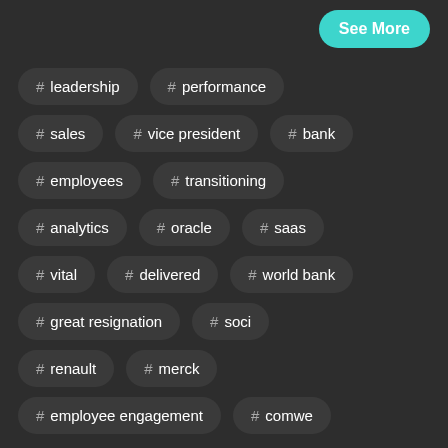See More
# leadership
# performance
# sales
# vice president
# bank
# employees
# transitioning
# analytics
# oracle
# saas
# vital
# delivered
# world bank
# great resignation
# soci
# renault
# merck
# employee engagement
# comwe